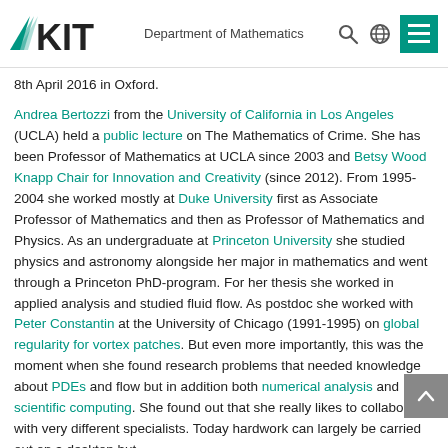KIT Department of Mathematics
8th April 2016 in Oxford.
Andrea Bertozzi from the University of California in Los Angeles (UCLA) held a public lecture on The Mathematics of Crime. She has been Professor of Mathematics at UCLA since 2003 and Betsy Wood Knapp Chair for Innovation and Creativity (since 2012). From 1995-2004 she worked mostly at Duke University first as Associate Professor of Mathematics and then as Professor of Mathematics and Physics. As an undergraduate at Princeton University she studied physics and astronomy alongside her major in mathematics and went through a Princeton PhD-program. For her thesis she worked in applied analysis and studied fluid flow. As postdoc she worked with Peter Constantin at the University of Chicago (1991-1995) on global regularity for vortex patches. But even more importantly, this was the moment when she found research problems that needed knowledge about PDEs and flow but in addition both numerical analysis and scientific computing. She found out that she really likes to collaborate with very different specialists. Today hardwork can largely be carried out on a desktop but